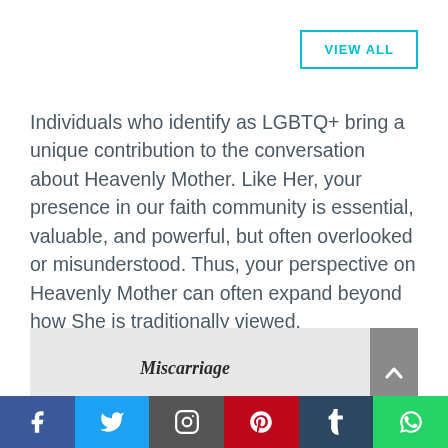VIEW ALL
Individuals who identify as LGBTQ+ bring a unique contribution to the conversation about Heavenly Mother. Like Her, your presence in our faith community is essential, valuable, and powerful, but often overlooked or misunderstood. Thus, your perspective on Heavenly Mother can often expand beyond how She is traditionally viewed.
[Figure (other): Card thumbnail with italic text label 'Miscarriage' on a light gray background]
[Figure (other): Social media share bar with icons: Facebook, Twitter, Instagram, Pinterest, Tumblr, WhatsApp]